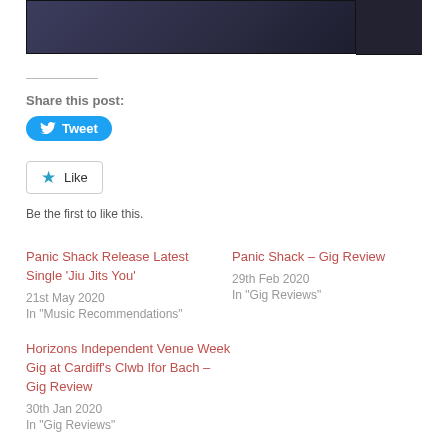[Figure (photo): Dark blue/purple image strip at the top of the page, partially cropped]
Share this post:
[Figure (other): Tweet button with Twitter bird icon]
[Figure (other): Like button with blue star icon]
Be the first to like this.
Panic Shack Release Latest Single 'Jiu Jits You'
21st May 2020
In "Music Recommendations"
Panic Shack – Gig Review
29th Feb 2020
In "Gig Reviews"
Horizons Independent Venue Week Gig at Cardiff's Clwb Ifor Bach – Gig Review
30th Jan 2020
In "Gig Reviews"